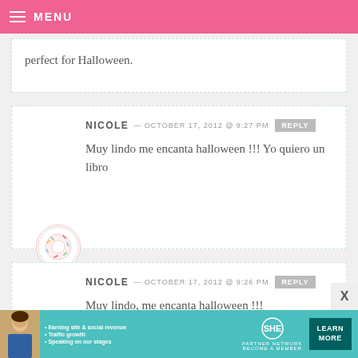MENU
perfect for Halloween.
NICOLE — OCTOBER 17, 2012 @ 9:27 PM  REPLY
Muy lindo me encanta halloween !!! Yo quiero un libro
NICOLE — OCTOBER 17, 2012 @ 9:26 PM  REPLY
Muy lindo, me encanta halloween !!!
[Figure (infographic): SHE Partner Network advertisement banner with photo of woman, bullet points about earning site & social revenue, traffic growth, speaking on our stages, SHE logo, and Learn More button]